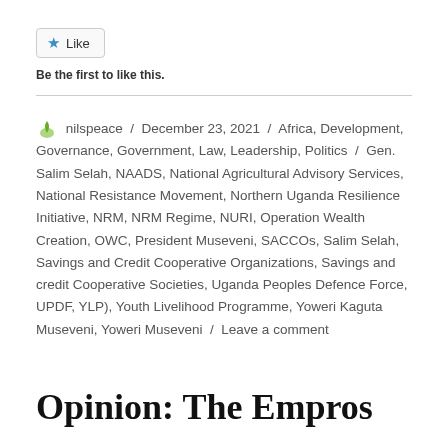[Figure (other): Like button widget with star icon and 'Like' label]
Be the first to like this.
nilspeace / December 23, 2021 / Africa, Development, Governance, Government, Law, Leadership, Politics / Gen. Salim Selah, NAADS, National Agricultural Advisory Services, National Resistance Movement, Northern Uganda Resilience Initiative, NRM, NRM Regime, NURI, Operation Wealth Creation, OWC, President Museveni, SACCOs, Salim Selah, Savings and Credit Cooperative Organizations, Savings and credit Cooperative Societies, Uganda Peoples Defence Force, UPDF, YLP), Youth Livelihood Programme, Yoweri Kaguta Museveni, Yoweri Museveni / Leave a comment
Opinion: The Empros…